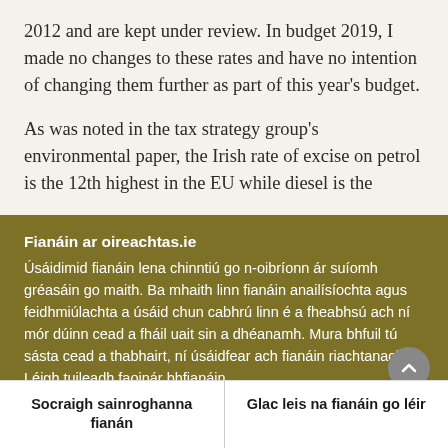2012 and are kept under review. In budget 2019, I made no changes to these rates and have no intention of changing them further as part of this year's budget.
As was noted in the tax strategy group's environmental paper, the Irish rate of excise on petrol is the 12th highest in the EU while diesel is the
Fianáin ar oireachtas.ie
Úsáidimid fianáin lena chinntiú go n-oibríonn ár suíomh gréasáin go maith. Ba mhaith linn fianáin anailísíochta agus feidhmiúlachta a úsáid chun cabhrú linn é a fheabhsú ach ní mór dúinn cead a fháil uait sin a dhéanamh. Mura bhfuil tú sásta cead a thabhairt, ní úsáidfear ach fianáin riachtanacha. Léigh tuileadh faoinár bhfianáin
Socraigh sainroghanna fianán
Glac leis na fianáin go léir